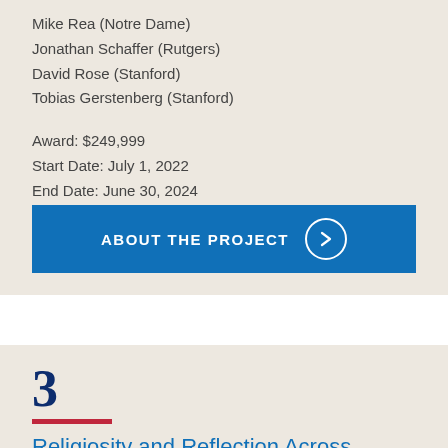Mike Rea (Notre Dame)
Jonathan Schaffer (Rutgers)
David Rose (Stanford)
Tobias Gerstenberg (Stanford)
Award: $249,999
Start Date: July 1, 2022
End Date: June 30, 2024
ABOUT THE PROJECT →
3
Religiosity and Reflection Across Cultures